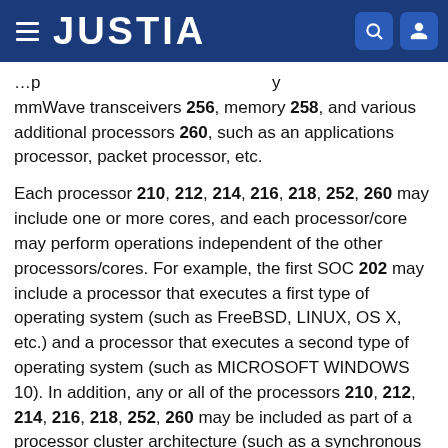JUSTIA
mmWave transceivers 256, memory 258, and various additional processors 260, such as an applications processor, packet processor, etc.
Each processor 210, 212, 214, 216, 218, 252, 260 may include one or more cores, and each processor/core may perform operations independent of the other processors/cores. For example, the first SOC 202 may include a processor that executes a first type of operating system (such as FreeBSD, LINUX, OS X, etc.) and a processor that executes a second type of operating system (such as MICROSOFT WINDOWS 10). In addition, any or all of the processors 210, 212, 214, 216, 218, 252, 260 may be included as part of a processor cluster architecture (such as a synchronous processor cluster architecture, an asynchronous or heterogeneous processor cluster architecture, etc.)